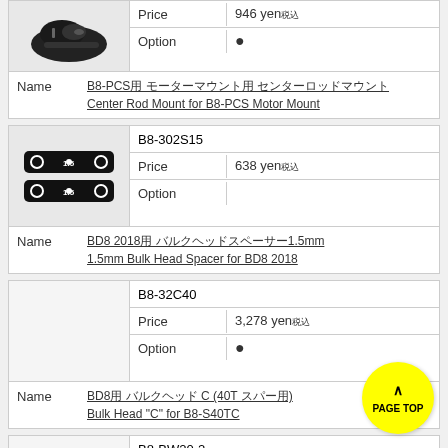| Image | Field | Value |
| --- | --- | --- |
| [shoe image] | Price | 946 yen税込 |
|  | Option | ● |
| Name | B8-PCS用 モーターマウント用 センターロッドマウント Center Rod Mount for B8-PCS Motor Mount |  |
| Image | Field | Value |
| --- | --- | --- |
| [spacer image] | B8-302S15 |  |
|  | Price | 638 yen税込 |
|  | Option |  |
| Name | BD8 2018用 バルクヘッドスペーサー1.5mm 1.5mm Bulk Head Spacer for BD8 2018 |  |
| Image | Field | Value |
| --- | --- | --- |
|  | B8-32C40 |  |
|  | Price | 3,278 yen税込 |
|  | Option | ● |
| Name | BD8用 バルクヘッド C (40T スパー用) Bulk Head "C" for B8-S40TC |  |
| Image | Field | Value |
| --- | --- | --- |
|  | B8-BW20-2 |  |
|  | Price | 1,628 yen税込 |
[Figure (other): PAGE TOP button - yellow circle with up arrow]